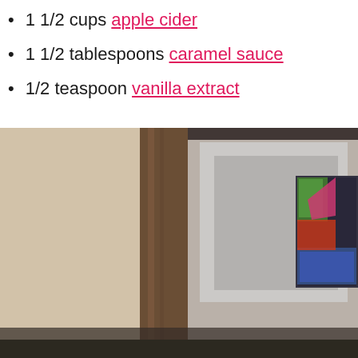1 1/2 cups apple cider
1 1/2 tablespoons caramel sauce
1/2 teaspoon vanilla extract
[Figure (photo): A blurry indoor photo showing a room with a dark-framed mirror or picture frame on the wall. To the right, a TV screen with colorful content is visible. A small metallic cat figurine sits on a dark surface in the foreground.]